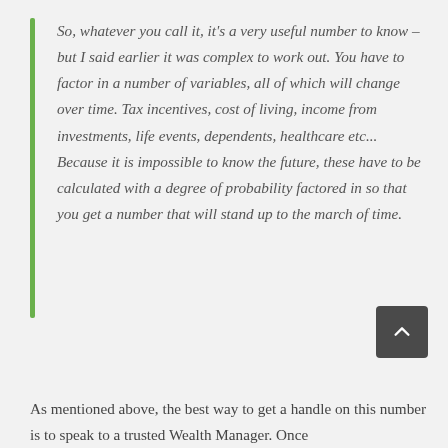So, whatever you call it, it's a very useful number to know – but I said earlier it was complex to work out. You have to factor in a number of variables, all of which will change over time. Tax incentives, cost of living, income from investments, life events, dependents, healthcare etc... Because it is impossible to know the future, these have to be calculated with a degree of probability factored in so that you get a number that will stand up to the march of time.
As mentioned above, the best way to get a handle on this number is to speak to a trusted Wealth Manager. Once